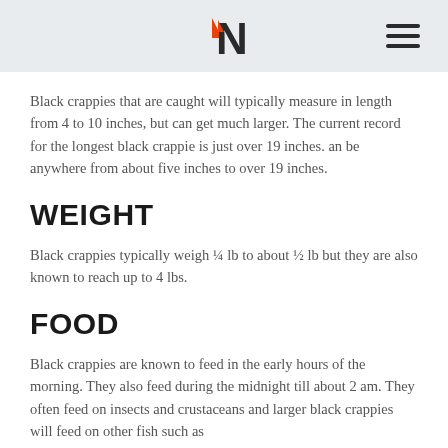Naturalist (logo) with hamburger menu
Black crappies that are caught will typically measure in length from 4 to 10 inches, but can get much larger. The current record for the longest black crappie is just over 19 inches. an be anywhere from about five inches to over 19 inches.
WEIGHT
Black crappies typically weigh ¼ lb to about ½ lb but they are also known to reach up to 4 lbs.
FOOD
Black crappies are known to feed in the early hours of the morning. They also feed during the midnight till about 2 am. They often feed on insects and crustaceans and larger black crappies will feed on other fish such as...